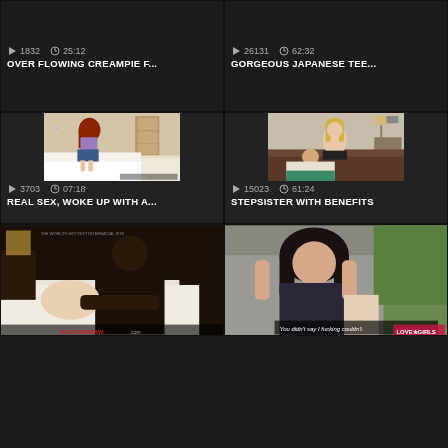[Figure (screenshot): Video thumbnail card: play count 1832, duration 25:12, title OVER FLOWING CREAMPIE F...]
[Figure (screenshot): Video thumbnail card: play count 26131, duration 62:32, title GORGEOUS JAPANESE TEE...]
[Figure (photo): Video thumbnail showing woman in purple top and blue skirt on bed, redhead]
[Figure (photo): Video thumbnail showing blonde woman and man on couch]
[Figure (screenshot): Video card: play count 3703, duration 07:18, title REAL SEX, WOKE UP WITH A...]
[Figure (screenshot): Video card: play count 15023, duration 61:24, title STEPSISTER WITH BENEFITS]
[Figure (photo): Video thumbnail - BLACKEDRAW.com watermark visible]
[Figure (photo): Video thumbnail with text overlay: You didn't say I fucking couldn't.]